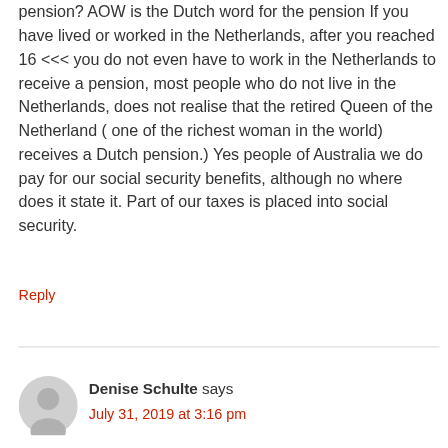pension? AOW is the Dutch word for the pension If you have lived or worked in the Netherlands, after you reached 16 <<< you do not even have to work in the Netherlands to receive a pension, most people who do not live in the Netherlands, does not realise that the retired Queen of the Netherland ( one of the richest woman in the world) receives a Dutch pension.) Yes people of Australia we do pay for our social security benefits, although no where does it state it. Part of our taxes is placed into social security.
Reply
Denise Schulte says
July 31, 2019 at 3:16 pm